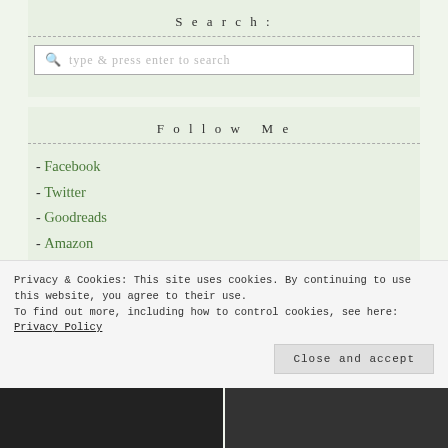Search:
type & press enter to search
Follow Me
- Facebook
- Twitter
- Goodreads
- Amazon
- Bookbub
- Pinterest
Privacy & Cookies: This site uses cookies. By continuing to use this website, you agree to their use. To find out more, including how to control cookies, see here: Privacy Policy
Close and accept
[Figure (photo): Two dark photos at the bottom of the page]